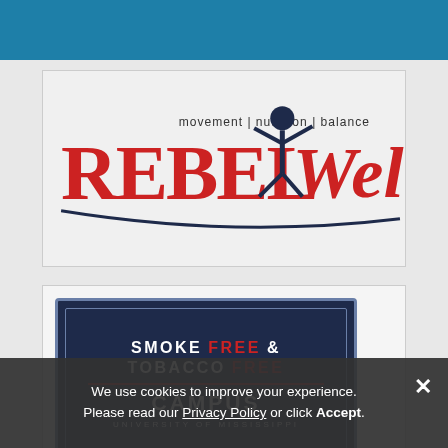[Figure (logo): Blue teal banner at top of page, partially visible]
[Figure (logo): Rebel Well logo — movement | nutrition | balance tagline with REBEL in red serif and Well in red cursive script, with dark blue stick figure athlete]
[Figure (logo): Smoke Free and Tobacco Free Campus — University of Mississippi badge logo on dark navy background]
We use cookies to improve your experience. Please read our Privacy Policy or click Accept.